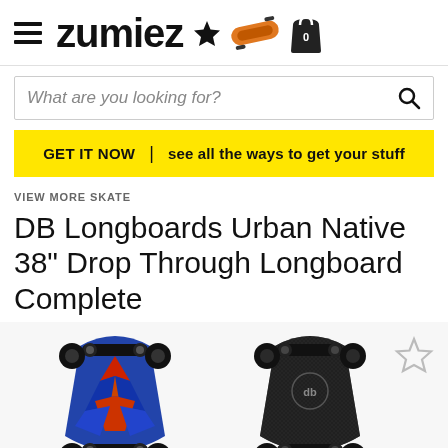[Figure (logo): Zumiez website header with hamburger menu, Zumiez logo in bold, star icon, orange longboard icon, and shopping bag with 0 count]
What are you looking for?
GET IT NOW  |  see all the ways to get your stuff
VIEW MORE SKATE
DB Longboards Urban Native 38" Drop Through Longboard Complete
[Figure (photo): Two views of DB Longboards Urban Native 38 Drop Through Longboard Complete - left view showing colorful front face with blue/red/black geometric Native American pattern and black trucks/wheels, right view showing black grip tape underside with DB logo and black trucks/wheels, with a gray star wishlist icon in top right]